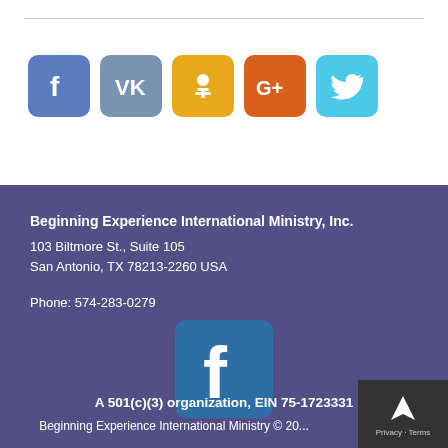[Figure (illustration): Row of social media icon buttons: Facebook (blue), VK (grey-blue), Odnoklassniki (yellow), Google+ (orange), Twitter (light blue)]
Beginning Experience International Ministry, Inc.
103 Biltmore St., Suite 105
San Antonio, TX 78213-2260 USA

Phone: 574-283-0279
[Figure (logo): Large Facebook 'f' logo on teal/dark blue rounded square background]
A 501(c)(3) organization, EIN 75-1723331
Beginning Experience International Ministry © 20...